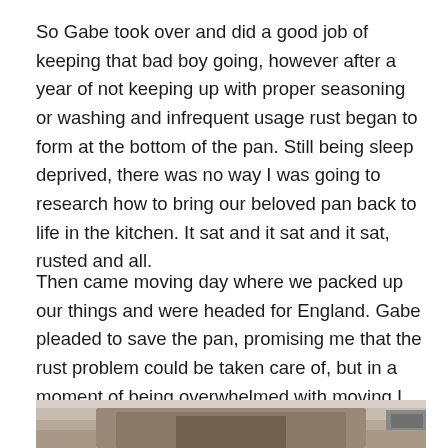So Gabe took over and did a good job of keeping that bad boy going, however after a year of not keeping up with proper seasoning or washing and infrequent usage rust began to form at the bottom of the pan. Still being sleep deprived, there was no way I was going to research how to bring our beloved pan back to life in the kitchen. It sat and it sat and it sat, rusted and all.
Then came moving day where we packed up our things and were headed for England. Gabe pleaded to save the pan, promising me that the rust problem could be taken care of, but in a moment of being overwhelmed with moving I refused and did the unimaginable. I tossed it in the trash! I can hear all of the “No’s” now. I know, I know.
[Figure (photo): Partial photo of a cast iron pan or similar metal kitchen item, appearing worn and rusted, partially cut off at the bottom of the page.]